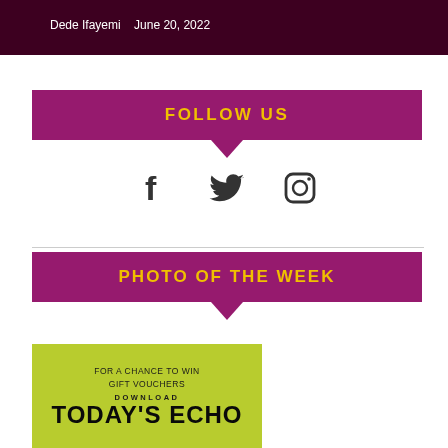Dede Ifayemi   June 20, 2022
FOLLOW US
[Figure (infographic): Social media icons: Facebook (f), Twitter (bird), Instagram (camera outline)]
PHOTO OF THE WEEK
[Figure (infographic): Green promotional box with text: FOR A CHANCE TO WIN GIFT VOUCHERS, DOWNLOAD TODAY'S ECHO]